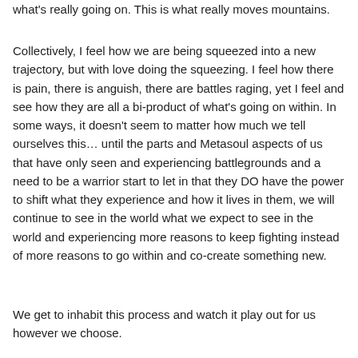what's really going on. This is what really moves mountains.
Collectively, I feel how we are being squeezed into a new trajectory, but with love doing the squeezing. I feel how there is pain, there is anguish, there are battles raging, yet I feel and see how they are all a bi-product of what's going on within. In some ways, it doesn't seem to matter how much we tell ourselves this… until the parts and Metasoul aspects of us that have only seen and experiencing battlegrounds and a need to be a warrior start to let in that they DO have the power to shift what they experience and how it lives in them, we will continue to see in the world what we expect to see in the world and experiencing more reasons to keep fighting instead of more reasons to go within and co-create something new.
We get to inhabit this process and watch it play out for us however we choose.